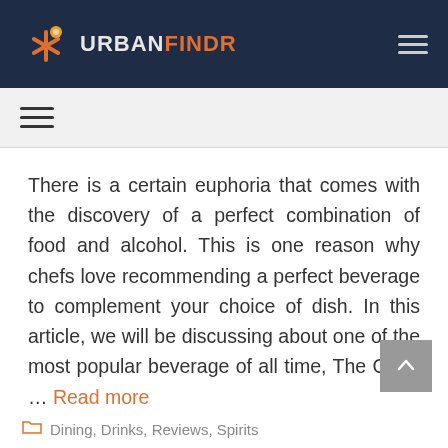URBANFINDR
There is a certain euphoria that comes with the discovery of a perfect combination of food and alcohol. This is one reason why chefs love recommending a perfect beverage to complement your choice of dish. In this article, we will be discussing about one of the most popular beverage of all time, The Gin – … Read more
Dining, Drinks, Reviews, Spirits